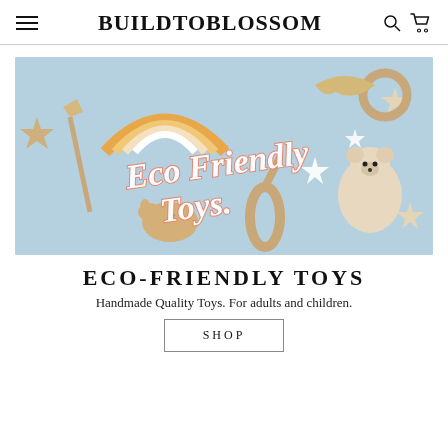BUILDTOBLOSSOM
[Figure (photo): Flat lay of eco-friendly wooden toys, a crocheted rainbow, a knitted teddy bear, wooden animal shapes (elephant, giraffe, bird), stars, and a wand on a light blue background. Text overlay reads 'Eco Friendly Toys.' in retro pink script.]
ECO-FRIENDLY TOYS
Handmade Quality Toys. For adults and children.
SHOP